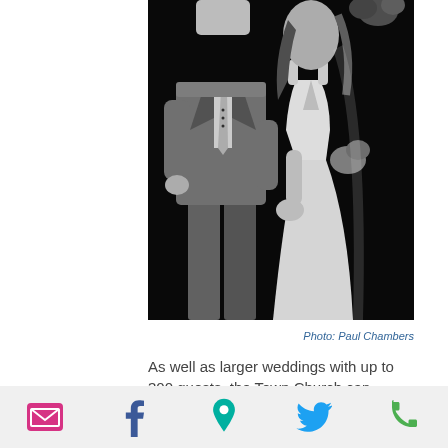[Figure (photo): Black and white wedding photo of a bride and groom. The groom wears a grey suit with a striped tie and waistcoat. The bride wears a white lace wedding dress. They are holding hands and smiling/laughing against a dark background.]
Photo: Paul Chambers
As well as larger weddings with up to 300 guests, the Town Church can